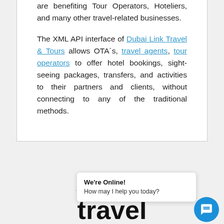are benefiting Tour Operators, Hoteliers, and many other travel-related businesses.

The XML API interface of Dubai Link Travel & Tours allows OTA´s, travel agents, tour operators to offer hotel bookings, sight-seeing packages, transfers, and activities to their partners and clients, without connecting to any of the traditional methods.
Revolutionizing Online travel